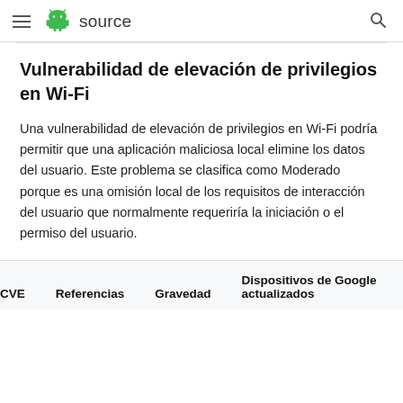≡ [android logo] source [search icon]
Vulnerabilidad de elevación de privilegios en Wi-Fi
Una vulnerabilidad de elevación de privilegios en Wi-Fi podría permitir que una aplicación maliciosa local elimine los datos del usuario. Este problema se clasifica como Moderado porque es una omisión local de los requisitos de interacción del usuario que normalmente requeriría la iniciación o el permiso del usuario.
| CVE | Referencias | Gravedad | Dispositivos de Google actualizados |
| --- | --- | --- | --- |